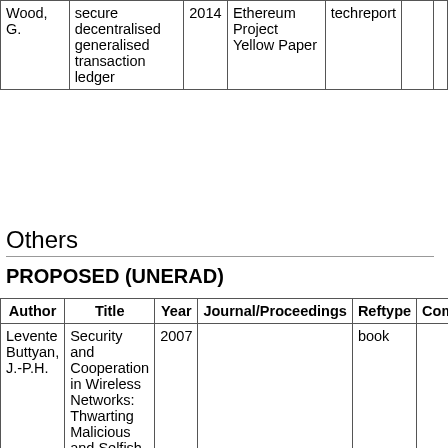| Author | Title | Year | Journal/Proceedings | Reftype | Comment | fi |
| --- | --- | --- | --- | --- | --- | --- |
| Wood, G. | secure decentralised generalised transaction ledger | 2014 | Ethereum Project Yellow Paper | techreport |  |  |
Others
PROPOSED (UNERAD)
| Author | Title | Year | Journal/Proceedings | Reftype | Comment | fi |
| --- | --- | --- | --- | --- | --- | --- |
| Levente Buttyan, J.-P.H. | Security and Cooperation in Wireless Networks: Thwarting Malicious and Selfish Behavior in the Age of Ubiquitous Computing | 2007 |  | book |  | p |
|  | Distributed |  |  |  |  |  |